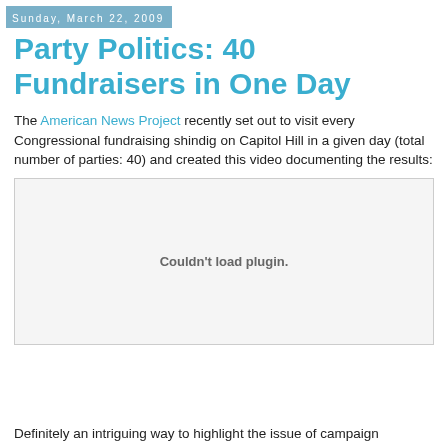Sunday, March 22, 2009
Party Politics: 40 Fundraisers in One Day
The American News Project recently set out to visit every Congressional fundraising shindig on Capitol Hill in a given day (total number of parties: 40) and created this video documenting the results:
[Figure (other): Embedded video player showing 'Couldn't load plugin.' error message]
Definitely an intriguing way to highlight the issue of campaign